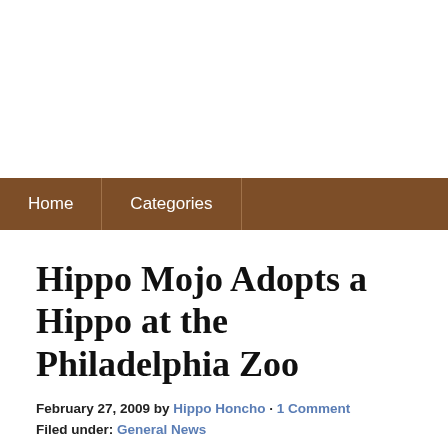Home | Categories
Hippo Mojo Adopts a Hippo at the Philadelphia Zoo
February 27, 2009 by Hippo Honcho · 1 Comment
Filed under: General News
One of the things we decided early on when we were brainstorming about starting u... we wanted to donate a percentage of our profits to charity, specifically to an organiz... whether in the wild or in captivity. We had no idea how much to donate but we Goo... found out that companies donate anywhere from 1 to 5 percent of their gross profit... to play it safe initially and commit 1 percent of our net profit to charity. Well, unfor... tough year to start a business, what with it being the "worst recession since the Grea... media likes to put it, and we made no profits. In fact, we lost money. Most of our ca...